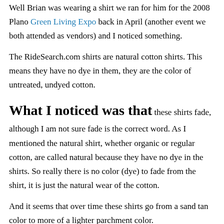Well Brian was wearing a shirt we ran for him for the 2008 Plano Green Living Expo back in April (another event we both attended as vendors) and I noticed something.
The RideSearch.com shirts are natural cotton shirts. This means they have no dye in them, they are the color of untreated, undyed cotton.
What I noticed was that these shirts fade, although I am not sure fade is the correct word. As I mentioned the natural shirt, whether organic or regular cotton, are called natural because they have no dye in the shirts. So really there is no color (dye) to fade from the shirt, it is just the natural wear of the cotton.
And it seems that over time these shirts go from a sand tan color to more of a lighter parchment color.
I never really thought of it before but because the shirts have no dye in them they just act like what they are, natural cotton, and the “fading” is